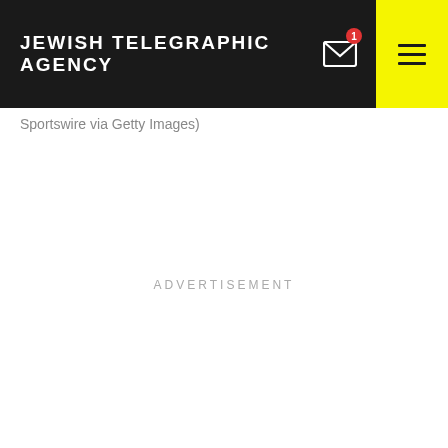JEWISH TELEGRAPHIC AGENCY
Sportswire via Getty Images)
ADVERTISEMENT